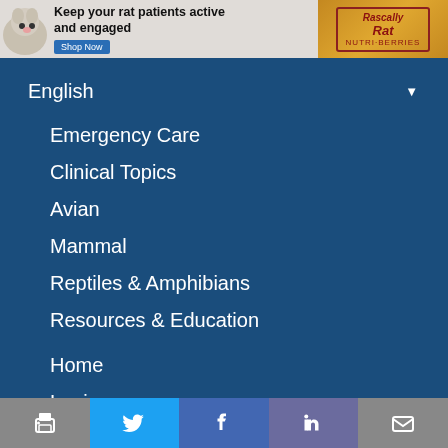[Figure (screenshot): Advertisement banner for Rascally Rat Nutri-Berries pet food with text 'Keep your rat patients active and engaged' and a Shop Now button]
English ▼
Emergency Care
Clinical Topics
Avian
Mammal
Reptiles & Amphibians
Resources & Education
Home
Login
About LafeberVet
Help With This Site
[Figure (screenshot): Social sharing bar with icons for print, Twitter, Facebook, LinkedIn, and email]